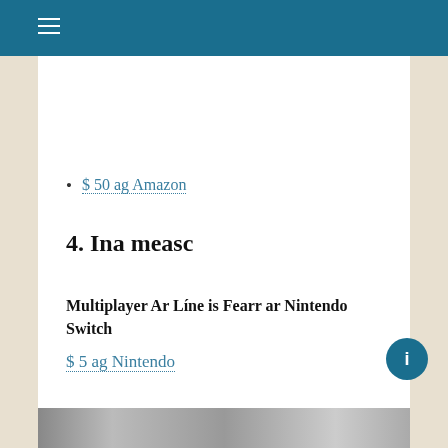$ 50 ag Amazon
4. Ina measc
Multiplayer Ar Líne is Fearr ar Nintendo Switch
$ 5 ag Nintendo
[Figure (photo): Partial image strip at bottom of page showing game-related imagery]